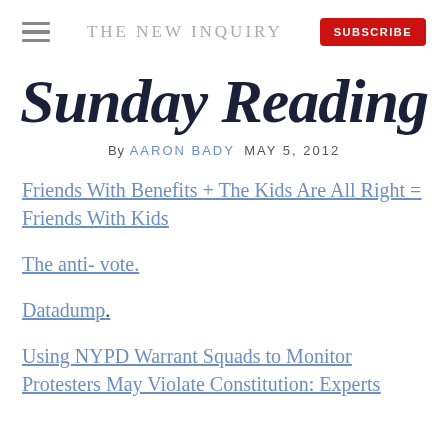THE NEW INQUIRY
Sunday Reading
By AARON BADY  MAY 5, 2012
Friends With Benefits + The Kids Are All Right = Friends With Kids
The anti- vote.
Datadump.
Using NYPD Warrant Squads to Monitor Protesters May Violate Constitution: Experts